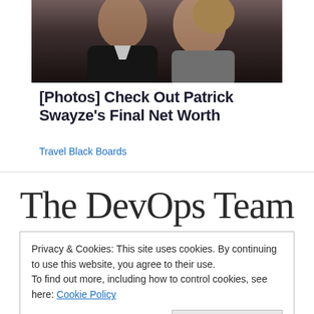[Figure (photo): A cropped photo of two people (a man and a woman), partial faces/upper bodies visible, dark background]
[Photos] Check Out Patrick Swayze's Final Net Worth
Travel Black Boards
The DevOps Team
Privacy & Cookies: This site uses cookies. By continuing to use this website, you agree to their use.
To find out more, including how to control cookies, see here: Cookie Policy
Close and accept